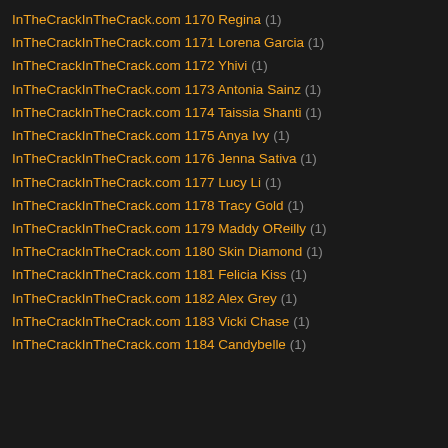InTheCrackInTheCrack.com 1170 Regina (1)
InTheCrackInTheCrack.com 1171 Lorena Garcia (1)
InTheCrackInTheCrack.com 1172 Yhivi (1)
InTheCrackInTheCrack.com 1173 Antonia Sainz (1)
InTheCrackInTheCrack.com 1174 Taissia Shanti (1)
InTheCrackInTheCrack.com 1175 Anya Ivy (1)
InTheCrackInTheCrack.com 1176 Jenna Sativa (1)
InTheCrackInTheCrack.com 1177 Lucy Li (1)
InTheCrackInTheCrack.com 1178 Tracy Gold (1)
InTheCrackInTheCrack.com 1179 Maddy OReilly (1)
InTheCrackInTheCrack.com 1180 Skin Diamond (1)
InTheCrackInTheCrack.com 1181 Felicia Kiss (1)
InTheCrackInTheCrack.com 1182 Alex Grey (1)
InTheCrackInTheCrack.com 1183 Vicki Chase (1)
InTheCrackInTheCrack.com 1184 Candybelle (1)